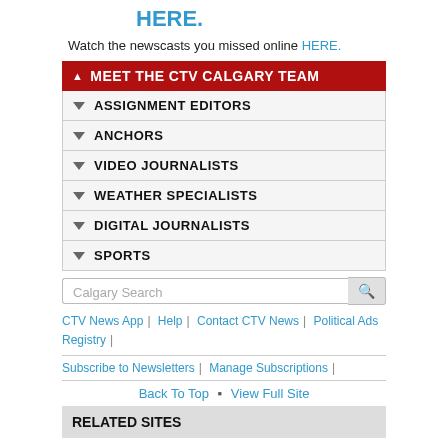HERE.
Watch the newscasts you missed online HERE.
▲ MEET THE CTV CALGARY TEAM
▼ ASSIGNMENT EDITORS
▼ ANCHORS
▼ VIDEO JOURNALISTS
▼ WEATHER SPECIALISTS
▼ DIGITAL JOURNALISTS
▼ SPORTS
Calgary Search
CTV News App | Help | Contact CTV News | Political Ads Registry |
Subscribe to Newsletters | Manage Subscriptions |
Back To Top  ▪  View Full Site
RELATED SITES